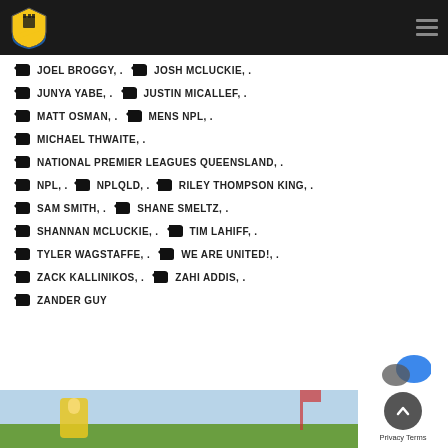Capalaba FC website header with logo and navigation menu
JOEL BROGGY, .  JOSH MCLUCKIE, .
JUNYA YABE, .  JUSTIN MICALLEF, .
MATT OSMAN, .  MENS NPL, .
MICHAEL THWAITE, .
NATIONAL PREMIER LEAGUES QUEENSLAND, .
NPL, .  NPLQLD, .  RILEY THOMPSON KING, .
SAM SMITH, .  SHANE SMELTZ, .
SHANNAN MCLUCKIE, .  TIM LAHIFF, .
TYLER WAGSTAFFE, .  WE ARE UNITED!, .
ZACK KALLINIKOS, .  ZAHI ADDIS, .
ZANDER GUY
[Figure (photo): Football/soccer player in yellow and blue kit on a grass pitch, partially visible at the bottom of the page]